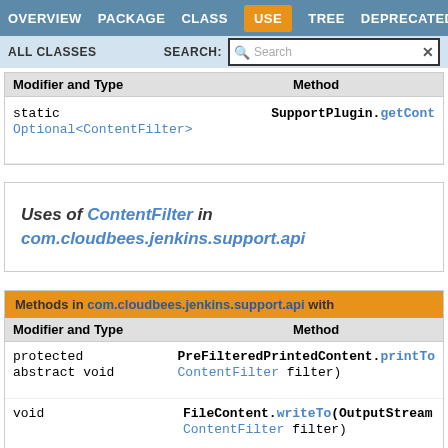OVERVIEW  PACKAGE  CLASS  USE  TREE  DEPRECATED
ALL CLASSES  SEARCH:
| Modifier and Type | Method |
| --- | --- |
| static Optional<ContentFilter> | SupportPlugin.getCont... |
Uses of ContentFilter in com.cloudbees.jenkins.support.api
| Modifier and Type | Method |
| --- | --- |
| protected abstract void | PreFilteredPrintedContent.printTo( ContentFilter filter) |
| void | FileContent.writeTo(OutputStream ContentFilter filter) |